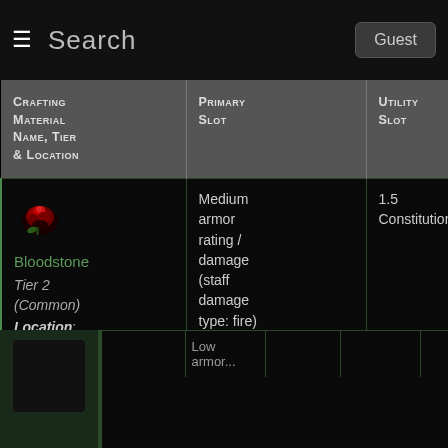Search  Guest
| Crafting Material Name, Tier & Location | Primary Slot | Utility Slot | Offense Slot | Defense Slot |
| --- | --- | --- | --- | --- |
| Bloodstone Tier 2 (Common) Location: Emerald Graves, Emprise du Lion | Medium armor rating / damage (staff damage type: fire) | 1.5 Constitution | 2.5% armor penetration | 13 hea... |
|  | Low armor... |  |  | 196... |